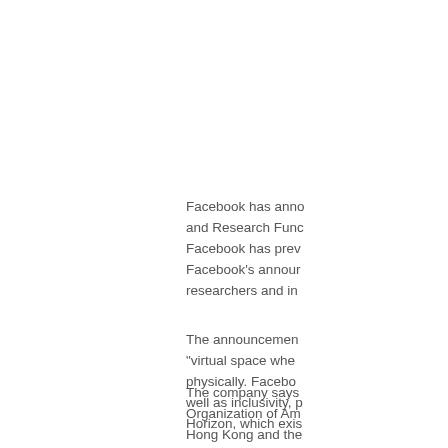Facebook has anno and Research Fund Facebook has prev Facebook's annour researchers and in
The announcemen "virtual space whe physically. Facebo well as inclusivity, p Horizon, which exis
The company says Organization of Am Hong Kong and the research would re